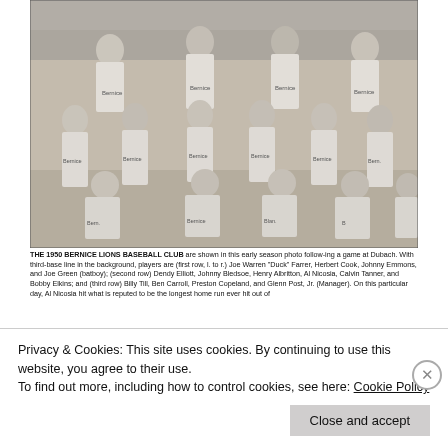[Figure (photo): Black and white team photo of the 1950 Bernice Lions Baseball Club, with players in three rows wearing 'Bernice' uniforms, taken at a baseball field at Dubach.]
THE 1950 BERNICE LIONS BASEBALL CLUB are shown in this early season photo following a game at Dubach. With third-base line in the background, players are (first row, l. to r.) Joe Warren "Duck" Farrer, Herbert Cook, Johnny Emmons, and Joe Green (batboy); (second row) Dendy Elliott, Johnny Bledsoe, Henry Albritton, Al Nicosia, Calvin Tanner, and Bobby Elkins; and (third row) Billy Till, Ben Carroll, Preston Copeland, and Glenn Post, Jr. (Manager). On this particular day, Al Nicosia hit what is reputed to be the longest home run ever hit out of
Privacy & Cookies: This site uses cookies. By continuing to use this website, you agree to their use.
To find out more, including how to control cookies, see here: Cookie Policy
Close and accept